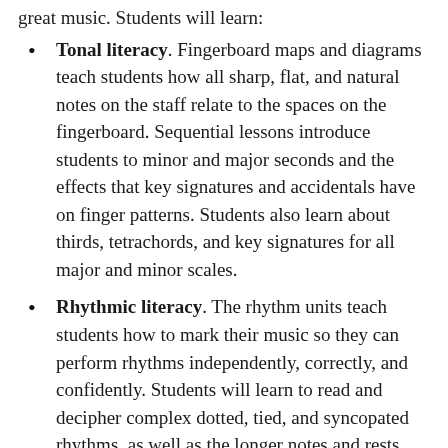Tonal literacy. Fingerboard maps and diagrams teach students how all sharp, flat, and natural notes on the staff relate to the spaces on the fingerboard. Sequential lessons introduce students to minor and major seconds and the effects that key signatures and accidentals have on finger patterns. Students also learn about thirds, tetrachords, and key signatures for all major and minor scales.
Rhythmic literacy. The rhythm units teach students how to mark their music so they can perform rhythms independently, correctly, and confidently. Students will learn to read and decipher complex dotted, tied, and syncopated rhythms, as well as the longer notes and rests that are common in orchestra music.
Historical awareness. Students will learn the evolution of string instruments and how string